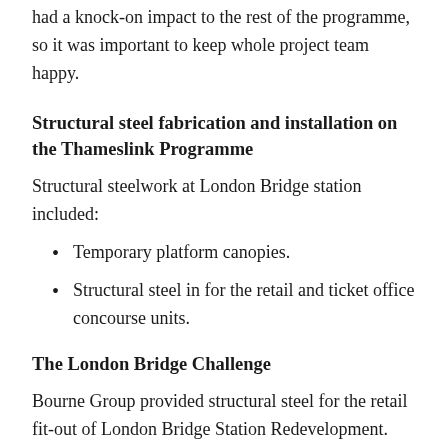had a knock-on impact to the rest of the programme, so it was important to keep whole project team happy.
Structural steel fabrication and installation on the Thameslink Programme
Structural steelwork at London Bridge station included:
Temporary platform canopies.
Structural steel in for the retail and ticket office concourse units.
The London Bridge Challenge
Bourne Group provided structural steel for the retail fit-out of London Bridge Station Redevelopment. The redevelopment project was carried out in two phases. The first phase covered the second phase of the programme. The second phase...